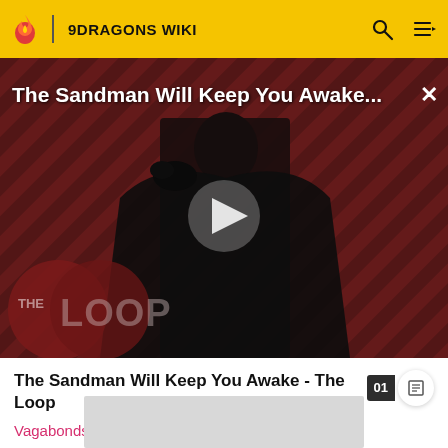9DRAGONS WIKI
[Figure (screenshot): Video thumbnail showing 'The Sandman Will Keep You Awake...' with a dark figure and THE LOOP branding on a red diagonal striped background with a play button overlay]
The Sandman Will Keep You Awake - The Loop
Vagabonds do not have a penalty attribute.
[Figure (other): Advertisement placeholder grey box]